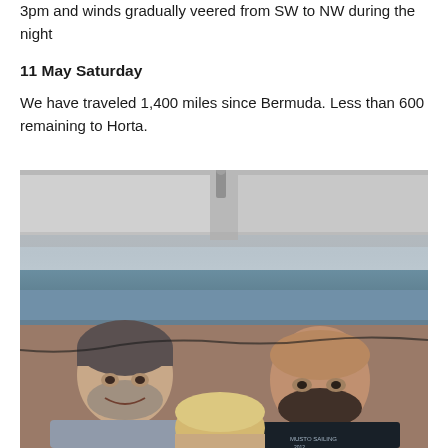3pm and winds gradually veered from SW to NW during the night
11 May Saturday
We have traveled 1,400 miles since Bermuda. Less than 600 remaining to Horta.
[Figure (photo): Three people on a sailboat taking a selfie photo. Two men and one person with blonde hair in the center. The ocean and a bimini/canopy structure are visible in the background.]